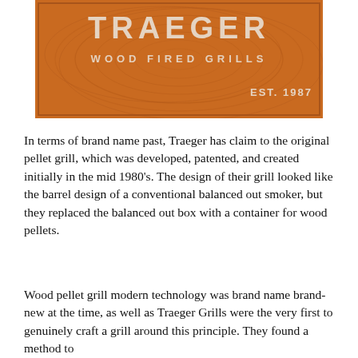[Figure (logo): Traeger Wood Fired Grills logo on an orange wood-grain textured background with EST. 1987]
In terms of brand name past, Traeger has claim to the original pellet grill, which was developed, patented, and created initially in the mid 1980's. The design of their grill looked like the barrel design of a conventional balanced out smoker, but they replaced the balanced out box with a container for wood pellets.
Wood pellet grill modern technology was brand name brand-new at the time, as well as Traeger Grills were the very first to genuinely craft a grill around this principle. They found a method to